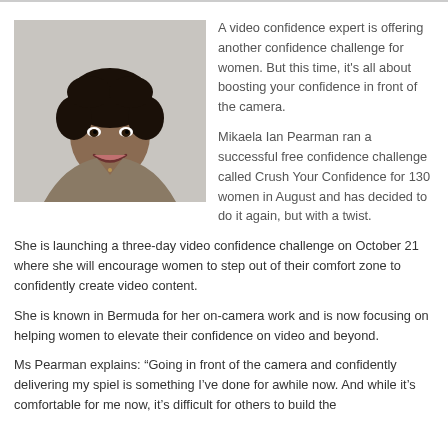[Figure (photo): Portrait photo of Mikaela Ian Pearman, a woman with short curly hair wearing a tan/brown button-up top, smiling, against a light gray background.]
A video confidence expert is offering another confidence challenge for women. But this time, it's all about boosting your confidence in front of the camera.
Mikaela Ian Pearman ran a successful free confidence challenge called Crush Your Confidence for 130 women in August and has decided to do it again, but with a twist.
She is launching a three-day video confidence challenge on October 21 where she will encourage women to step out of their comfort zone to confidently create video content.
She is known in Bermuda for her on-camera work and is now focusing on helping women to elevate their confidence on video and beyond.
Ms Pearman explains: “Going in front of the camera and confidently delivering my spiel is something I’ve done for awhile now. And while it’s comfortable or me now, it’s difficult for others to build the